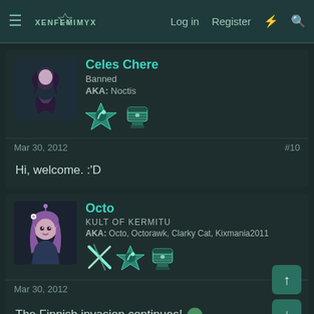Log in  Register
Celes Chere
Banned
AKA: Noctis
Mar 30, 2012  #10
Hi, welcome. :'D
Octo
KULT OF KERMITU
AKA: Octo, Octorawk, Clarky Cat, Kixmania2011
Mar 30, 2012  #11
The Finnish invasion continues! 😁

Also, squeeee Kate Bush avatar! 😊

Welcome 🙂